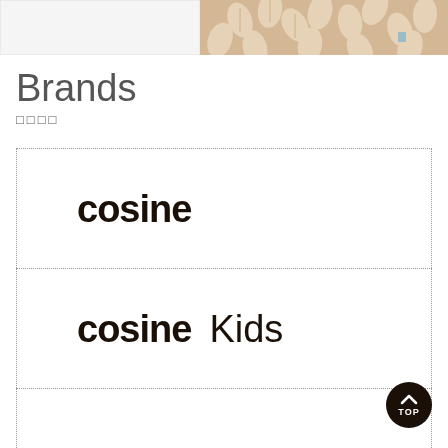[Figure (photo): Top portion of page showing fabric/textile with leaf pattern in beige/tan color, partially visible at top of page]
Brands
□□□□
[Figure (logo): cosine brand logo in bold dark brown/black lowercase text]
[Figure (logo): cosine Kids brand logo with bold cosine text and lighter Kids text]